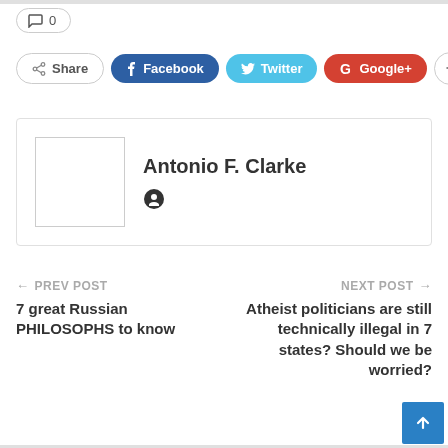0
Share  Facebook  Twitter  Google+  +
Antonio F. Clarke
← PREV POST
7 great Russian PHILOSOPHS to know
NEXT POST →
Atheist politicians are still technically illegal in 7 states? Should we be worried?